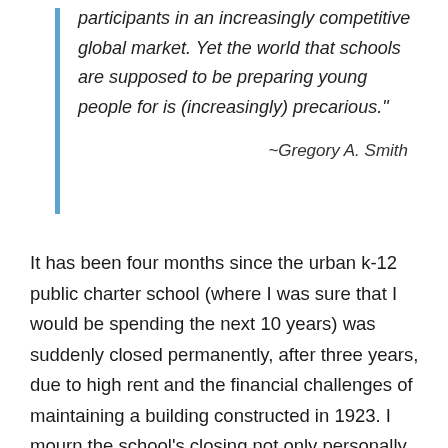participants in an increasingly competitive global market. Yet the world that schools are supposed to be preparing young people for is (increasingly) precarious."

~Gregory A. Smith
It has been four months since the urban k-12 public charter school (where I was sure that I would be spending the next 10 years) was suddenly closed permanently, after three years, due to high rent and the financial challenges of maintaining a building constructed in 1923. I mourn the school’s closing not only personally but professionally. I became a public school teacher two decades ago because I wanted to be